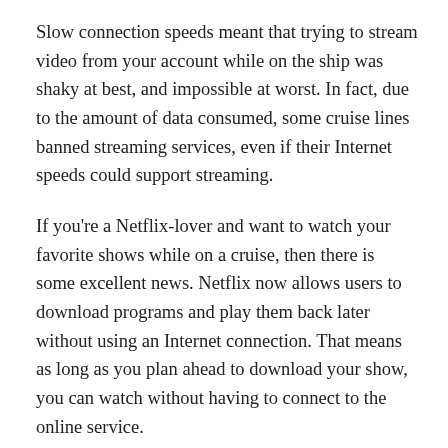Slow connection speeds meant that trying to stream video from your account while on the ship was shaky at best, and impossible at worst. In fact, due to the amount of data consumed, some cruise lines banned streaming services, even if their Internet speeds could support streaming.
If you're a Netflix-lover and want to watch your favorite shows while on a cruise, then there is some excellent news. Netflix now allows users to download programs and play them back later without using an Internet connection. That means as long as you plan ahead to download your show, you can watch without having to connect to the online service.